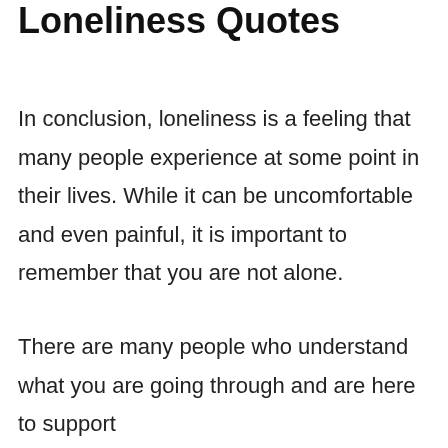Loneliness Quotes
In conclusion, loneliness is a feeling that many people experience at some point in their lives. While it can be uncomfortable and even painful, it is important to remember that you are not alone.
There are many people who understand what you are going through and are here to support